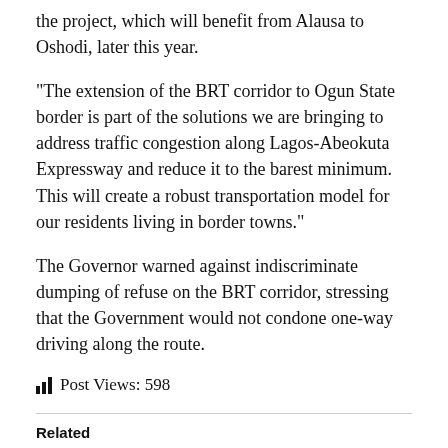the project, which will benefit from Alausa to Oshodi, later this year.
“The extension of the BRT corridor to Ogun State border is part of the solutions we are bringing to address traffic congestion along Lagos-Abeokuta Expressway and reduce it to the barest minimum. This will create a robust transportation model for our residents living in border towns.”
The Governor warned against indiscriminate dumping of refuse on the BRT corridor, stressing that the Government would not condone one-way driving along the route.
Post Views: 598
Related
FANFARE AS SANWO-OLU
SANWO-OLU ORDERS